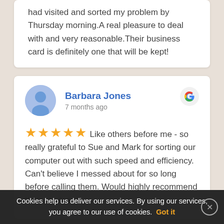had visited and sorted my problem by Thursday morning.A real pleasure to deal with and very reasonable.Their business card is definitely one that will be kept!
Barbara Jones
7 months ago
★★★★★ Like others before me - so really grateful to Sue and Mark for sorting our computer out with such speed and efficiency. Can't believe I messed about for so long before calling them. Would highly recommend their services.
Cookies help us deliver our services. By using our services, you agree to our use of cookies. Got it